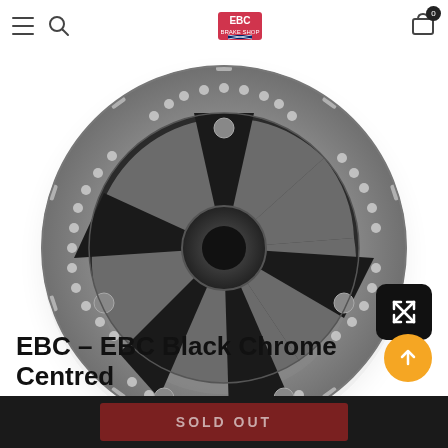EBC Brake Shop
[Figure (photo): EBC Black Chrome Centred brake disc rotor with black star-shaped center and perforated chrome outer ring, shown from the front]
EBC - EBC Black Chrome Centred
SOLD OUT